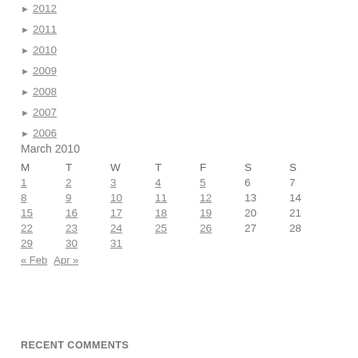► 2012
► 2011
► 2010
► 2009
► 2008
► 2007
► 2006
March 2010
| M | T | W | T | F | S | S |
| --- | --- | --- | --- | --- | --- | --- |
| 1 | 2 | 3 | 4 | 5 | 6 | 7 |
| 8 | 9 | 10 | 11 | 12 | 13 | 14 |
| 15 | 16 | 17 | 18 | 19 | 20 | 21 |
| 22 | 23 | 24 | 25 | 26 | 27 | 28 |
| 29 | 30 | 31 |  |  |  |  |
« Feb   Apr »
RECENT COMMENTS